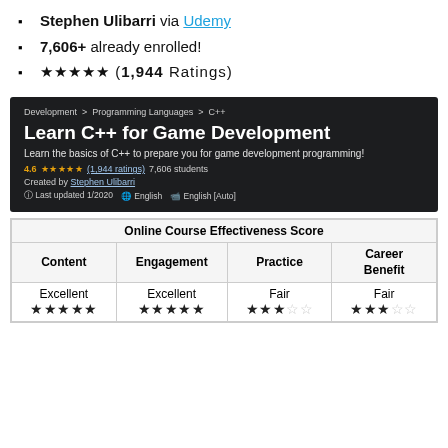Stephen Ulibarri via Udemy
7,606+ already enrolled!
★★★★★ (1,944 Ratings)
[Figure (screenshot): Udemy course page screenshot for 'Learn C++ for Game Development' by Stephen Ulibarri. Breadcrumb: Development > Programming Languages > C++. Subtitle: Learn the basics of C++ to prepare you for game development programming! Rating: 4.6 stars (1,944 ratings) 7,606 students. Created by Stephen Ulibarri. Last updated 1/2020. English. English [Auto].]
| Content | Engagement | Practice | Career Benefit |
| --- | --- | --- | --- |
| Excellent
★★★★★ | Excellent
★★★★★ | Fair
★★★☆☆ | Fair
★★★☆☆ |